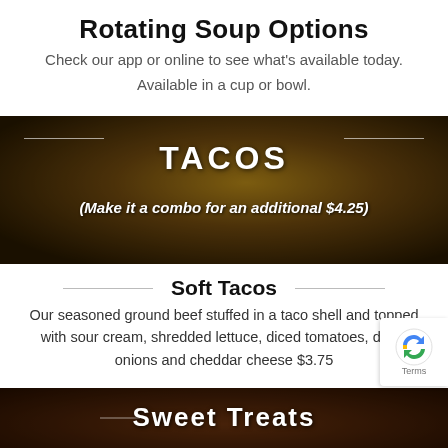Rotating Soup Options
Check our app or online to see what's available today.
Available in a cup or bowl.
[Figure (photo): Banner image of tacos with dark overlay, showing text TACOS and subtitle (Make it a combo for an additional $4.25)]
Soft Tacos
Our seasoned ground beef stuffed in a taco shell and topped with sour cream, shredded lettuce, diced tomatoes, diced onions and cheddar cheese $3.75
[Figure (photo): Banner image of sweet treats with dark overlay showing text Sweet Treats]